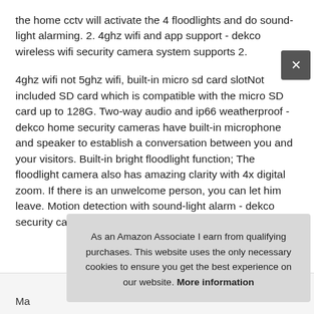the home cctv will activate the 4 floodlights and do sound-light alarming. 2. 4ghz wifi and app support - dekco wireless wifi security camera system supports 2.
4ghz wifi not 5ghz wifi, built-in micro sd card slotNot included SD card which is compatible with the micro SD card up to 128G. Two-way audio and ip66 weatherproof - dekco home security cameras have built-in microphone and speaker to establish a conversation between you and your visitors. Built-in bright floodlight function; The floodlight camera also has amazing clarity with 4x digital zoom. If there is an unwelcome person, you can let him leave. Motion detection with sound-light alarm - dekco security camera can detect objects in motion
As an Amazon Associate I earn from qualifying purchases. This website uses the only necessary cookies to ensure you get the best experience on our website. More information